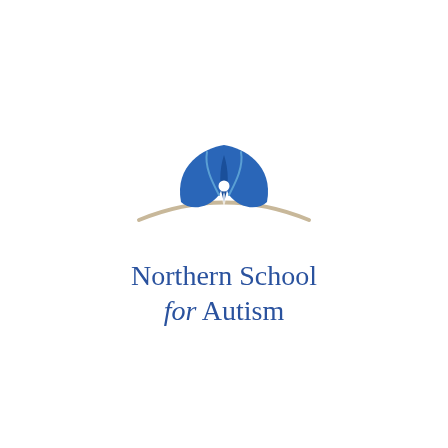[Figure (logo): Northern School for Autism logo: two blue leaf shapes forming a stylized figure above a beige arc, with the text 'Northern School for Autism' below in blue serif font with 'for' in italic.]